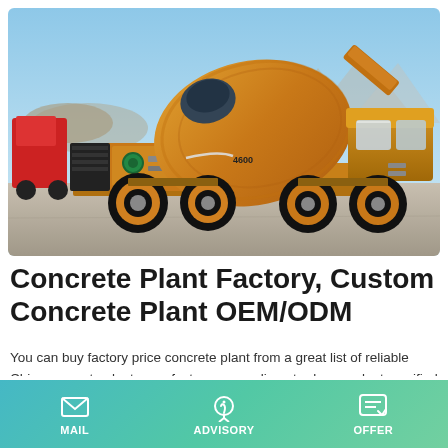[Figure (photo): A large yellow self-loading concrete mixer truck parked on a paved surface with mountains and blue sky in the background. Another red vehicle is partially visible on the left.]
Concrete Plant Factory, Custom Concrete Plant OEM/ODM
You can buy factory price concrete plant from a great list of reliable China concrete plant manufacturers, suppliers, traders or plants verified by a third-party inspector. High Quality and Convenient Concrete Batch Plant For Sale. High Quality and Convenient Concrete Batch Plant For Sale. Unit Price: US $
MAIL   ADVISORY   OFFER